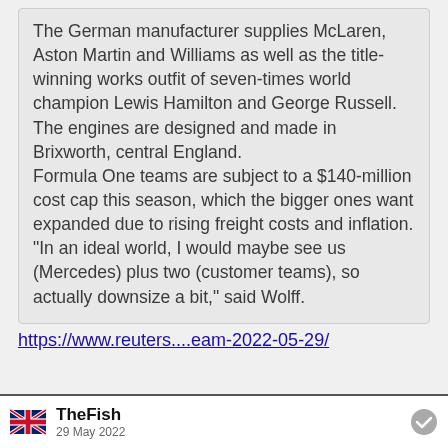The German manufacturer supplies McLaren, Aston Martin and Williams as well as the title-winning works outfit of seven-times world champion Lewis Hamilton and George Russell. The engines are designed and made in Brixworth, central England.
Formula One teams are subject to a $140-million cost cap this season, which the bigger ones want expanded due to rising freight costs and inflation. "In an ideal world, I would maybe see us (Mercedes) plus two (customer teams), so actually downsize a bit," said Wolff.
https://www.reuters....eam-2022-05-29/
TheFish